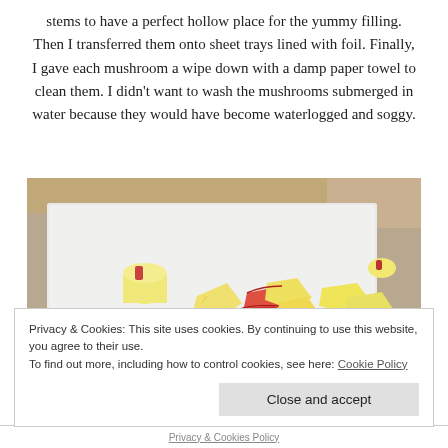stems to have a perfect hollow place for the yummy filling. Then I transferred them onto sheet trays lined with foil. Finally, I gave each mushroom a wipe down with a damp paper towel to clean them. I didn't want to wash the mushrooms submerged in water because they would have become waterlogged and soggy.
[Figure (photo): A cutting board with chopped apple pieces, some showing red skin, on what appears to be a kitchen counter.]
Privacy & Cookies: This site uses cookies. By continuing to use this website, you agree to their use.
To find out more, including how to control cookies, see here: Cookie Policy
Close and accept
Privacy & Cookies Policy